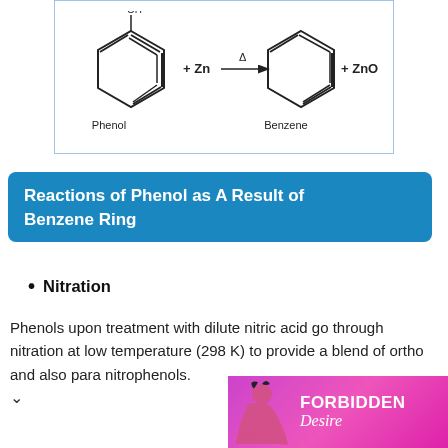[Figure (schematic): Chemical reaction diagram showing Phenol + Zn with heat (triangle) arrow producing Benzene + ZnO. Phenol is shown as hexagon ring with OH group; Benzene as plain hexagon ring.]
Reactions of Phenol as A Result of Benzene Ring
Nitration
Phenols upon treatment with dilute nitric acid go through nitration at low temperature (298 K) to provide a blend of ortho and also para nitrophenols.
[Figure (photo): Advertisement banner: pink/magenta background with silhouette of woman and text 'FORBIDDEN Desire']